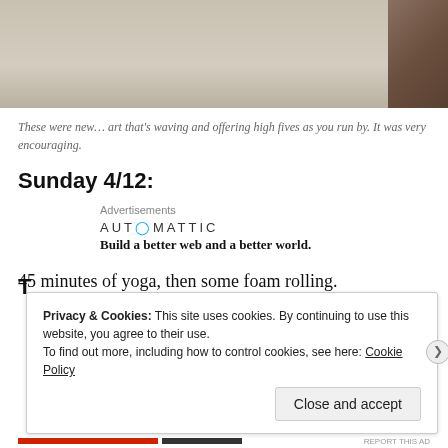[Figure (photo): Top portion of a photo showing a light gray/beige surface or path with rocky/brown material visible at the right edge]
These were new… art that's waving and offering high fives as you run by. It was very encouraging.
Sunday 4/12:
Advertisements
[Figure (logo): Automattic logo with tagline: Build a better web and a better world.]
45 minutes of yoga, then some foam rolling.
Privacy & Cookies: This site uses cookies. By continuing to use this website, you agree to their use. To find out more, including how to control cookies, see here: Cookie Policy
Close and accept